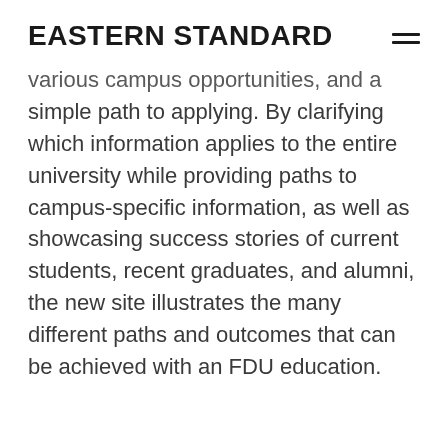EASTERN STANDARD
various campus opportunities, and a simple path to applying. By clarifying which information applies to the entire university while providing paths to campus-specific information, as well as showcasing success stories of current students, recent graduates, and alumni, the new site illustrates the many different paths and outcomes that can be achieved with an FDU education.